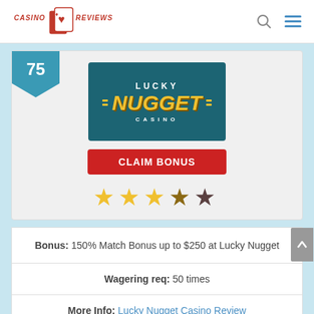[Figure (logo): Casino Reviews website logo with playing cards icon and red italic text]
[Figure (logo): Lucky Nugget Casino logo on teal background with gold text]
CLAIM BONUS
[Figure (other): 3.5 out of 5 star rating with gold and dark stars]
Bonus: 150% Match Bonus up to $250 at Lucky Nugget
Wagering req: 50 times
More Info: Lucky Nugget Casino Review